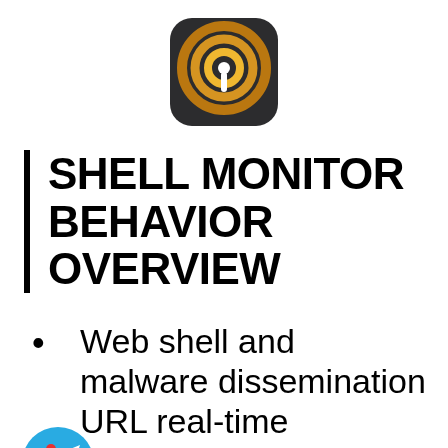[Figure (logo): Shell Monitor app icon — dark rounded square with concentric yellow/gold rings and a white pin/dot in center]
SHELL MONITOR BEHAVIOR OVERVIEW
Web shell and malware dissemination URL real-time detection /
[Figure (logo): Telegram app icon — blue circle with white paper plane arrow]